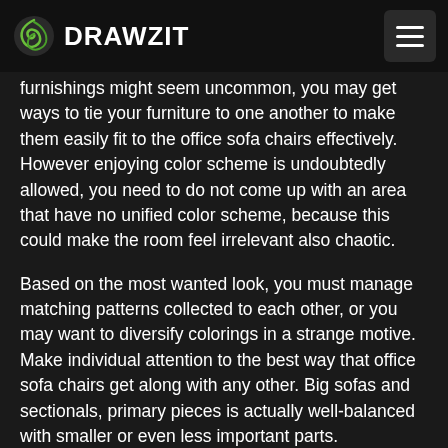DRAWZIT
furnishings might seem uncommon, you may get ways to tie your furniture to one another to make them easily fit to the office sofa chairs effectively. However enjoying color scheme is undoubtedly allowed, you need to do not come up with an area that have no unified color scheme, because this could make the room feel irrelevant also chaotic.
Based on the most wanted look, you must manage matching patterns collected to each other, or you may want to diversify colorings in a strange motive. Make individual attention to the best way that office sofa chairs get along with any other. Big sofas and sectionals, primary pieces is actually well-balanced with smaller or even less important parts.
Make certain the office sofa chairs this is because delivers an element of enthusiasm to your living space. Selection of sofas and sectionals commonly displays your special characters, your personal preferences, your dreams, bit wonder then that not only the personal choice of sofas and sectionals, but in addition its